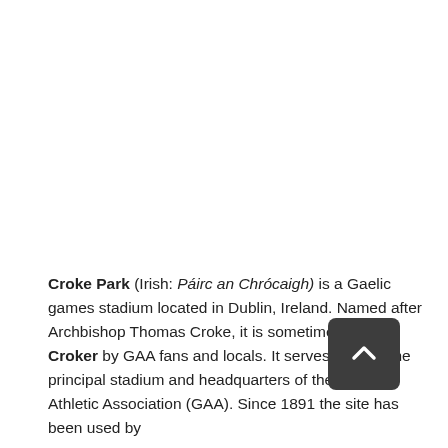Croke Park (Irish: Páirc an Chrócaigh) is a Gaelic games stadium located in Dublin, Ireland. Named after Archbishop Thomas Croke, it is sometimes called Croker by GAA fans and locals. It serves as both the principal stadium and headquarters of the Gaelic Athletic Association (GAA). Since 1891 the site has been used by